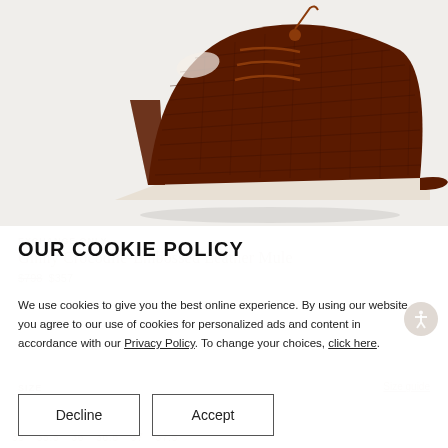[Figure (photo): Brown crocodile-embossed leather mule heel shoe with lace-up detail on light grey/white background]
EXCHANGE ONLY
Ginny Crocodile-Embossed Leather Mule
$798 $357
OUR COOKIE POLICY
We use cookies to give you the best online experience. By using our website you agree to our use of cookies for personalized ads and content in accordance with our Privacy Policy. To change your choices, click here.
SIZE
Size guide
Decline
Accept
35  35.5  36  36.5  37  37.5